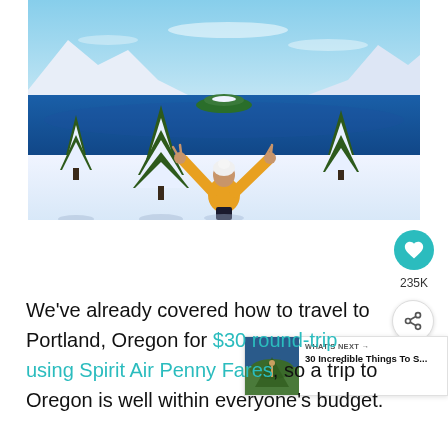[Figure (photo): Person in yellow sweater and white beanie facing away, arms raised in a V shape, overlooking a vivid blue crater lake surrounded by snow-covered pine trees and mountains under a blue sky.]
We've already covered how to travel to Portland, Oregon for $30 round-trip using Spirit Air Penny Fares, so a trip to Oregon is well within everyone's budget.